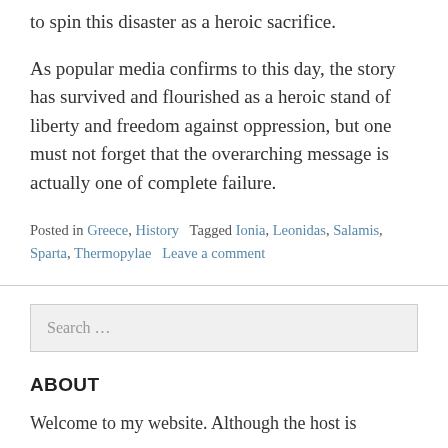to spin this disaster as a heroic sacrifice.
As popular media confirms to this day, the story has survived and flourished as a heroic stand of liberty and freedom against oppression, but one must not forget that the overarching message is actually one of complete failure.
Posted in Greece, History   Tagged Ionia, Leonidas, Salamis, Sparta, Thermopylae   Leave a comment
Search …
ABOUT
Welcome to my website. Although the host is